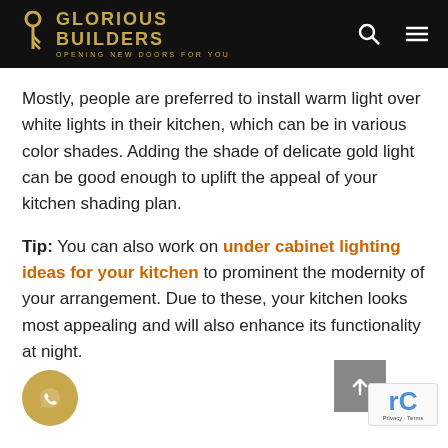GLORIOUS BUILDERS — OPENING NEW DOORS FOR YOU
Mostly, people are preferred to install warm light over white lights in their kitchen, which can be in various color shades. Adding the shade of delicate gold light can be good enough to uplift the appeal of your kitchen shading plan.
Tip: You can also work on under cabinet lighting ideas for your kitchen to prominent the modernity of your arrangement. Due to these, your kitchen looks most appealing and will also enhance its functionality at night.